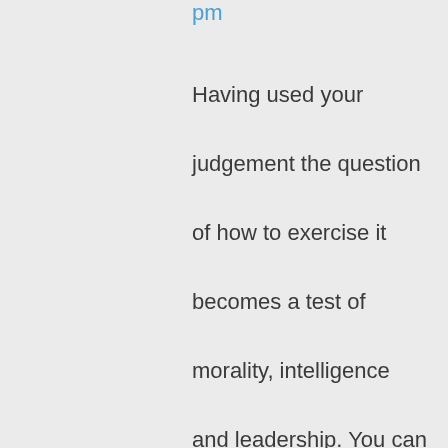pm
Having used your judgement the question of how to exercise it becomes a test of morality, intelligence and leadership. You can choose to be helpless or